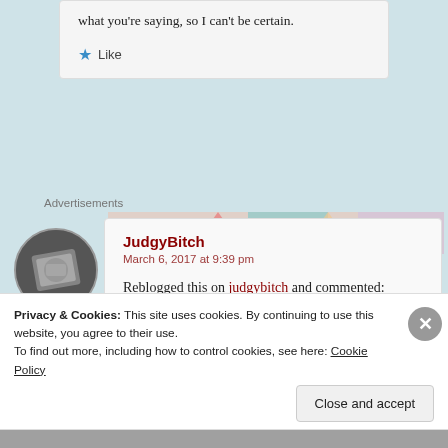what you're saying, so I can't be certain.
Like
Advertisements
[Figure (photo): Round avatar photo of a person]
JudgyBitch
March 6, 2017 at 9:39 pm
Reblogged this on judgybitch and commented:
Privacy & Cookies: This site uses cookies. By continuing to use this website, you agree to their use.
To find out more, including how to control cookies, see here: Cookie Policy
Close and accept